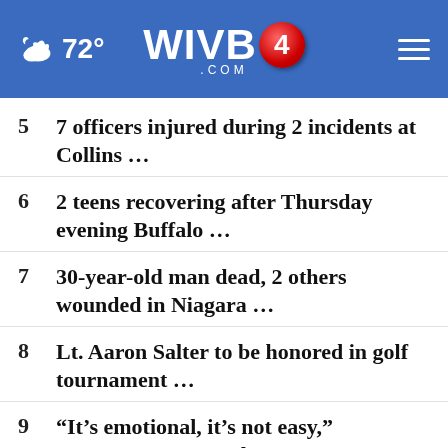72° WIVB4.COM
5   7 officers injured during 2 incidents at Collins ...
6   2 teens recovering after Thursday evening Buffalo ...
7   30-year-old man dead, 2 others wounded in Niagara ...
8   Lt. Aaron Salter to be honored in golf tournament ...
9   “It’s emotional, it’s not easy,” McDermott responds ...
10  Bills 53-man roster projection: Who’s in, who’s out